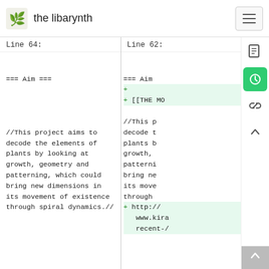the libarynth
Line 64:

=== Aim ===

//This project aims to decode the elements of plants by looking at growth, geometry and patterning, which could bring new dimensions in its movement of existence through spiral dynamics.//
Line 62:

=== Aim

+
+ [[THE MO

//This p decode t plants b growth, patterni bring ne its move through
+ http:// www.kira recent-/